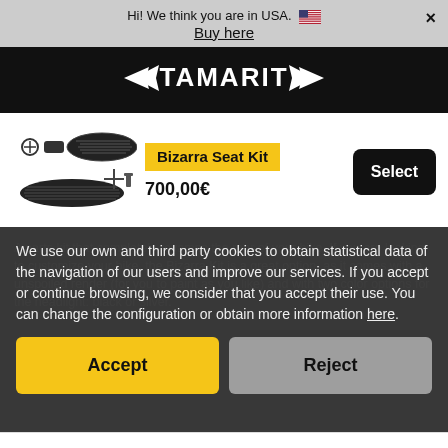Hi! We think you are in USA. 🇺🇸   ×
Buy here
[Figure (logo): TAMARIT logo in white on black background with wing decorations]
[Figure (photo): Bizarra Seat Kit parts: seat, mounting hardware, and headlight components]
Bizarra Seat Kit
700,00€
Select
A parts kit that completely revamps the rear of your bike. If you are looking to customize your bike, the Bizarra Kit is a great option, as it comes with a unspoiled render (for you to paint as you like) and with two color options for the headlight: black or silver.
We use our own and third party cookies to obtain statistical data of the navigation of our users and improve our services. If you accept or continue browsing, we consider that you accept their use. You can change the configuration or obtain more information here.
Accept
Reject
Select your bike